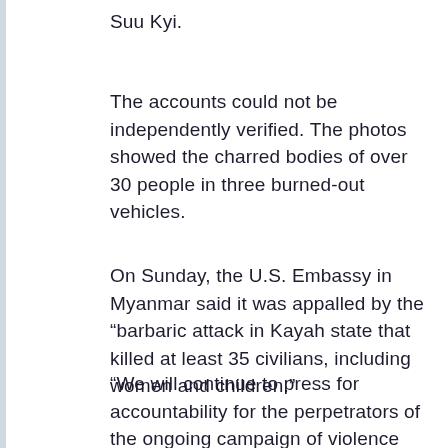Suu Kyi.
The accounts could not be independently verified. The photos showed the charred bodies of over 30 people in three burned-out vehicles.
On Sunday, the U.S. Embassy in Myanmar said it was appalled by the “barbaric attack in Kayah state that killed at least 35 civilians, including women and children.”
“We will continue to press for accountability for the perpetrators of the ongoing campaign of violence against the people of Burma,” it said in a statement.